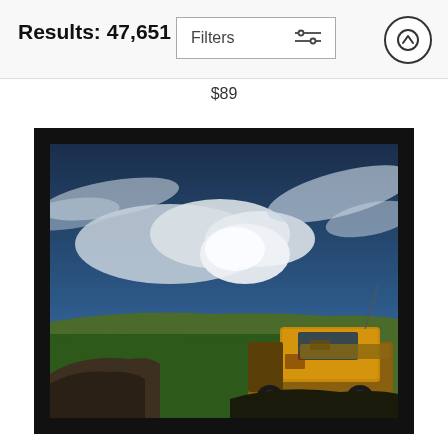Results: 47,651
Filters
$89
[Figure (photo): A framed photograph of a rusty yellow truck/vehicle parked on a hillside with dramatic cloudy sky and green grassland in the background.]